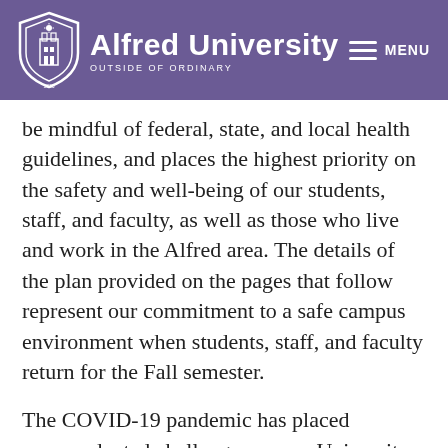Alfred University — Outside of Ordinary
be mindful of federal, state, and local health guidelines, and places the highest priority on the safety and well-being of our students, staff, and faculty, as well as those who live and work in the Alfred area. The details of the plan provided on the pages that follow represent our commitment to a safe campus environment when students, staff, and faculty return for the Fall semester.
The COVID-19 pandemic has placed unprecedented challenges on our University. In late March, we were forced to pivot to a virtual model of instruction, with all but the most essential of employees working from